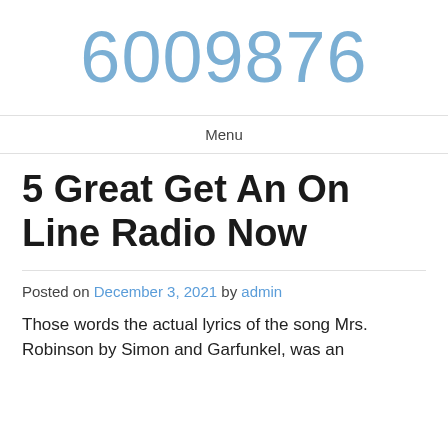6009876
Menu
5 Great Get An On Line Radio Now
Posted on December 3, 2021 by admin
Those words the actual lyrics of the song Mrs. Robinson by Simon and Garfunkel, was an